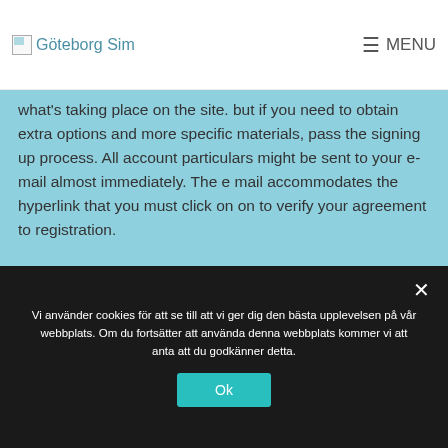Göteborg Sim | MENU
what's taking place on the site. but if you need to obtain extra options and more specific materials, pass the signing up process. All account particulars might be sent to your e-mail almost immediately. The e mail accommodates the hyperlink that you must click on on to verify your agreement to registration.
[Figure (photo): stripchat review image placeholder]
Vi använder cookies för att se till att vi ger dig den bästa upplevelsen på vår webbplats. Om du fortsätter att använda denna webbplats kommer vi att anta att du godkänner detta.